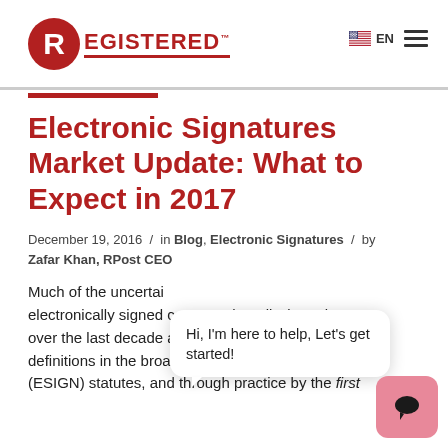REGISTERED™ — EN navigation header
Electronic Signatures Market Update: What to Expect in 2017
December 19, 2016 / in Blog, Electronic Signatures / by Zafar Khan, RPost CEO
Much of the uncertainty surrounding electronically signed contracts has dissipated over the last decade and a half — through definitions in the broad state (UETA) and Federal (ESIGN) statutes, and through practice by the first